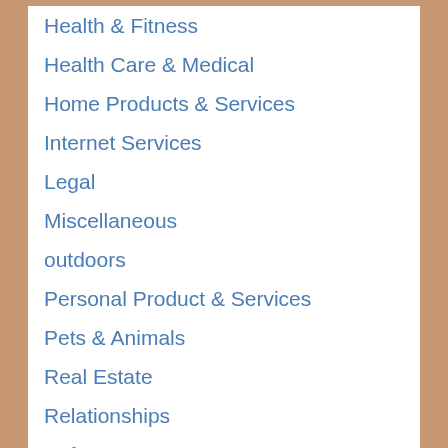Health & Fitness
Health Care & Medical
Home Products & Services
Internet Services
Legal
Miscellaneous
outdoors
Personal Product & Services
Pets & Animals
Real Estate
Relationships
Software
Sports & Athletics
Technology
Travel